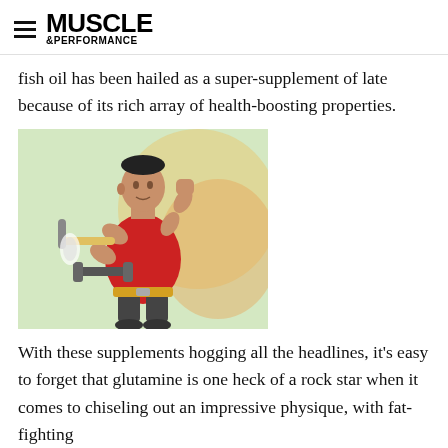MUSCLE &PERFORMANCE
fish oil has been hailed as a super-supplement of late because of its rich array of health-boosting properties.
[Figure (illustration): Cartoon illustration of a muscular man in a red tank top doing dumbbell curls, with an exaggerated physique and dramatic pose against a colorful background.]
With these supplements hogging all the headlines, it's easy to forget that glutamine is one heck of a rock star when it comes to chiseling out an impressive physique, with fat-fighting